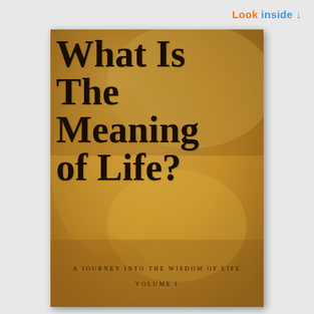Look inside ↓
[Figure (illustration): Book cover for 'What Is The Meaning Of Life?' with a golden/amber textured parchment background and large serif title text. Subtitle reads 'A Journey Into The Wisdom Of Life' and 'Volume I' at the bottom.]